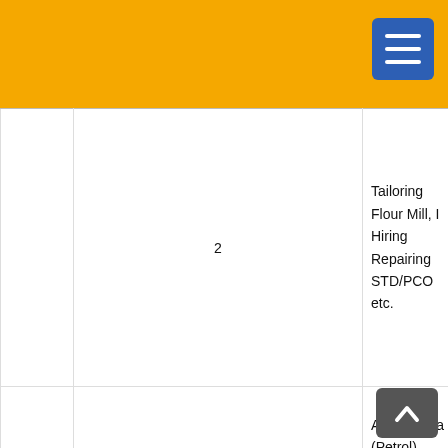|  |  |  |
| --- | --- | --- |
|  | 2 | Tailoring, Flour Mill, Hiring, Repairing, STD/PCO, etc. |
|  | 3 | Autorickshaw (Petrol), Automobile Repair, PCO/Photo Booth, G, Provision, Beauty Parlour and Music, etc. |
|  |  | Transport, Denting, Painting, Vehicles, Domestic... |